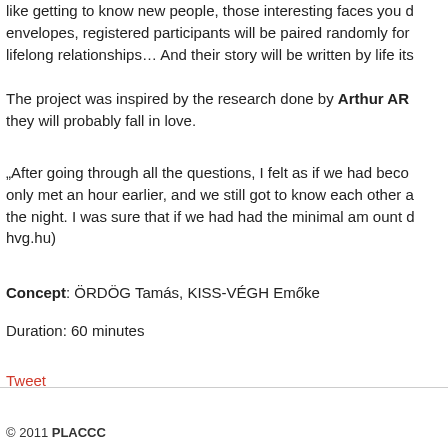like getting to know new people, those interesting faces you d… envelopes, registered participants will be paired randomly for… lifelong relationships… And their story will be written by life its…
The project was inspired by the research done by Arthur AR… they will probably fall in love.
„After going through all the questions, I felt as if we had beco… only met an hour earlier, and we still got to know each other a… the night. I was sure that if we had had the minimal am ount d… hvg.hu)
Concept: ÖRDÖG Tamás, KISS-VÉGH Emőke
Duration: 60 minutes
Tweet
© 2011 PLACCC